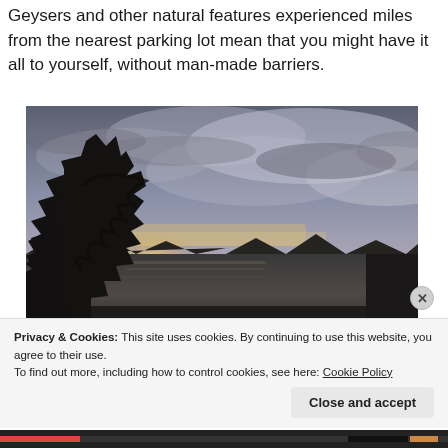Geysers and other natural features experienced miles from the nearest parking lot mean that you might have it all to yourself, without man-made barriers.
[Figure (photo): Landscape photograph showing a lake or river at sunset/dusk, with dark silhouettes of tall conifer trees in the foreground on the left, and a dramatic cloudy sky with light breaking through the clouds. The far shoreline is a dark treeline. Warm golden light near the horizon.]
Privacy & Cookies: This site uses cookies. By continuing to use this website, you agree to their use.
To find out more, including how to control cookies, see here: Cookie Policy
Close and accept